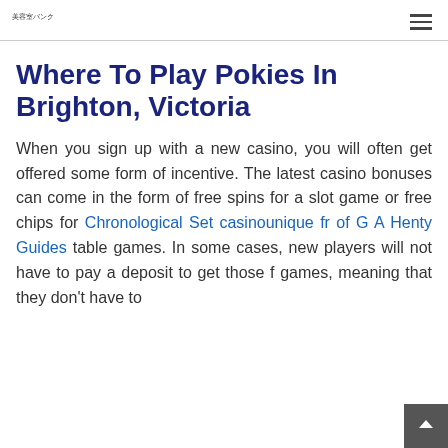美容室バンク
Where To Play Pokies In Brighton, Victoria
When you sign up with a new casino, you will often get offered some form of incentive. The latest casino bonuses can come in the form of free spins for a slot game or free chips for Chronological Set casinounique fr of G A Henty Guides table games. In some cases, new players will not have to pay a deposit to get those f… games, meaning that they don't have to